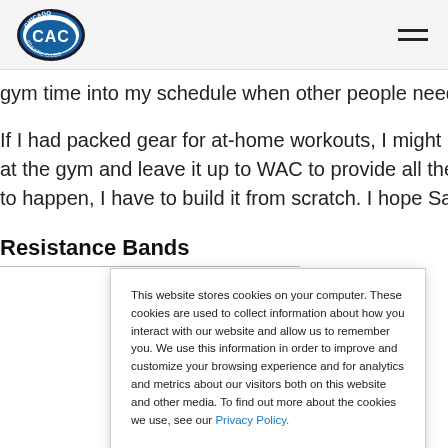CAC Chicago Athletic Clubs — navigation header
gym time into my schedule when other people needed to use it f
If I had packed gear for at-home workouts, I might have been ab at the gym and leave it up to WAC to provide all the equipment, to happen, I have to build it from scratch. I hope Santa sees this
Resistance Bands
This website stores cookies on your computer. These cookies are used to collect information about how you interact with our website and allow us to remember you. We use this information in order to improve and customize your browsing experience and for analytics and metrics about our visitors both on this website and other media. To find out more about the cookies we use, see our Privacy Policy.
I accept | I decline